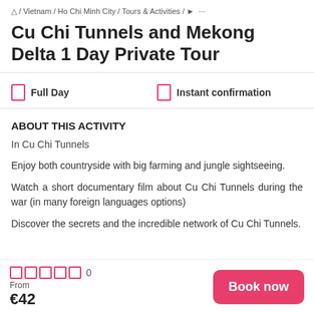🏠 / Vietnam / Ho Chi Minh City / Tours & Activities / ▶ ···
Cu Chi Tunnels and Mekong Delta 1 Day Private Tour
Full Day
Instant confirmation
ABOUT THIS ACTIVITY
In Cu Chi Tunnels
Enjoy both countryside with big farming and jungle sightseeing.
Watch a short documentary film about Cu Chi Tunnels during the war (in many foreign languages options)
Discover the secrets and the incredible network of Cu Chi Tunnels.
☆☆☆☆☆ 0
From
€42